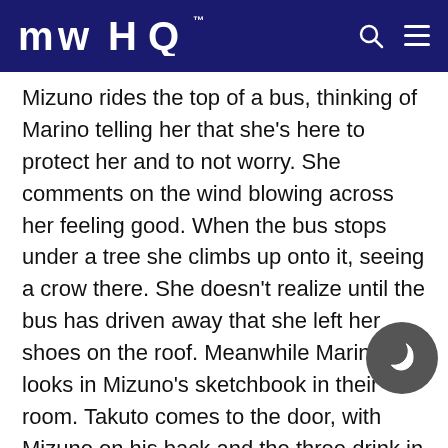MAHQ
Mizuno rides the top of a bus, thinking of Marino telling her that she's here to protect her and to not worry. She comments on the wind blowing across her feeling good. When the bus stops under a tree she climbs up onto it, seeing a crow there. She doesn't realize until the bus has driven away that she left her shoes on the roof. Meanwhile Marino looks in Mizuno's sketchbook in their room. Takuto comes to the door, with Mizuno on his back and the three drink in their room. Mizuno flashes back to when Takuto came across her, sitting in a tree. She says she can't go without her shoes and asks him to carry her home. Upon seeing a bus pass by outside, Takuto asks if that's how she gets to school. M says she keeps telling Mizuno to stop but she will not. Takuto gets embarrassed upon hearing a cell